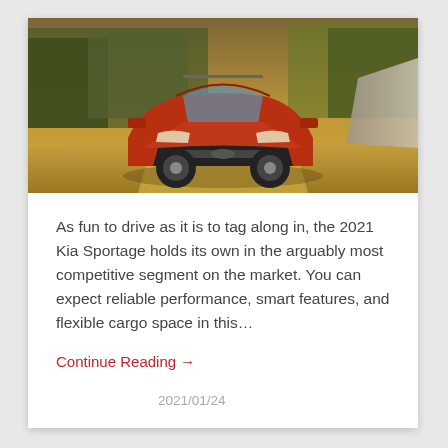[Figure (photo): 2021 Kia Sportage SUV in orange/red color driving on a dirt road surrounded by trees and rocky terrain in warm golden light]
As fun to drive as it is to tag along in, the 2021 Kia Sportage holds its own in the arguably most competitive segment on the market. You can expect reliable performance, smart features, and flexible cargo space in this…
Continue Reading →
2021/01/24